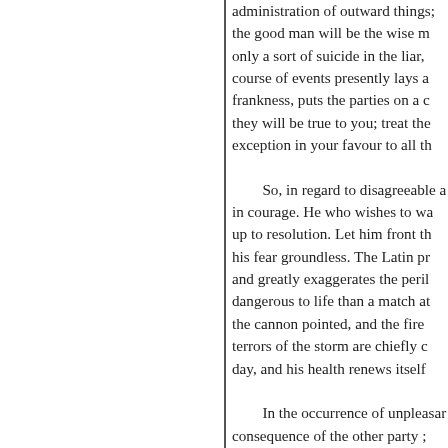administration of outward things; the good man will be the wise m only a sort of suicide in the liar, course of events presently lays a frankness, puts the parties on a c they will be true to you; treat the exception in your favour to all th

So, in regard to disagreeable a in courage. He who wishes to wa up to resolution. Let him front th his fear groundless. The Latin pr and greatly exaggerates the peril dangerous to life than a match at the cannon pointed, and the fire terrors of the storm are chiefly c day, and his health renews itself

In the occurrence of unpleasan consequence of the other party ; strong. To himself, he seems wea of you. You are solicitous of the offender of your peace and of the the peace of society is often kept men swell, bully, and threaten